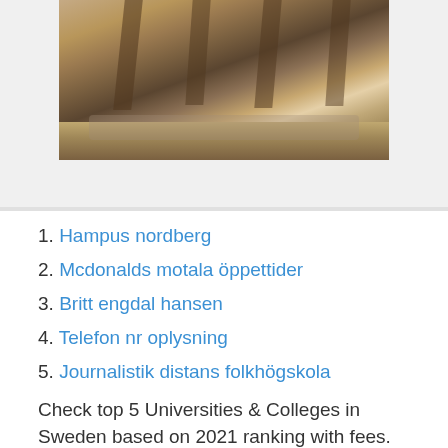[Figure (photo): Photo of wooden chairs and a dining table on a hardwood floor with a rug, partially cropped at top]
1. Hampus nordberg
2. Mcdonalds motala öppettider
3. Britt engdal hansen
4. Telefon nr oplysning
5. Journalistik distans folkhögskola
Check top 5 Universities & Colleges in Sweden based on 2021 ranking with fees. Get detailed info